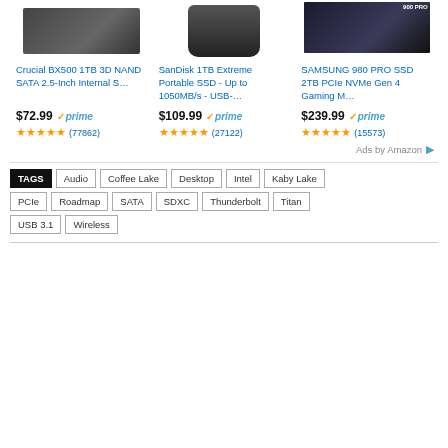[Figure (photo): Crucial BX500 1TB SSD product image - dark grey rectangular drive]
[Figure (photo): SanDisk 1TB Extreme Portable SSD product image - black portable drive]
[Figure (photo): Samsung 980 PRO SSD 2TB product image - M.2 form factor drive with label]
Crucial BX500 1TB 3D NAND SATA 2.5-Inch Internal S…
SanDisk 1TB Extreme Portable SSD - Up to 1050MB/s - USB-…
SAMSUNG 980 PRO SSD 2TB PCIe NVMe Gen 4 Gaming M…
$72.99 prime (77862)
$109.99 prime (27122)
$239.99 prime (15573)
Ads by Amazon
TAGS
Audio
Coffee Lake
Desktop
Intel
Kaby Lake
PCIe
Roadmap
SATA
SDXC
Thunderbolt
Titan
USB 3.1
Wireless